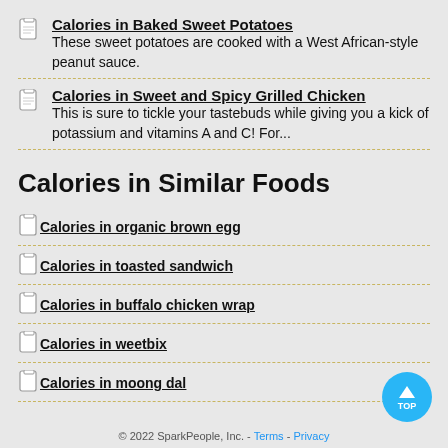Calories in Baked Sweet Potatoes
These sweet potatoes are cooked with a West African-style peanut sauce.
Calories in Sweet and Spicy Grilled Chicken
This is sure to tickle your tastebuds while giving you a kick of potassium and vitamins A and C! For...
Calories in Similar Foods
Calories in organic brown egg
Calories in toasted sandwich
Calories in buffalo chicken wrap
Calories in weetbix
Calories in moong dal
© 2022 SparkPeople, Inc. - Terms - Privacy